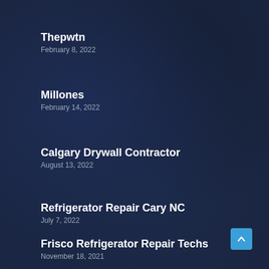Thepwtn
February 8, 2022
Millones
February 14, 2022
Calgary Drywall Contractor
August 13, 2022
Refrigerator Repair Cary NC
July 7, 2022
Frisco Refrigerator Repair Techs
November 18, 2021